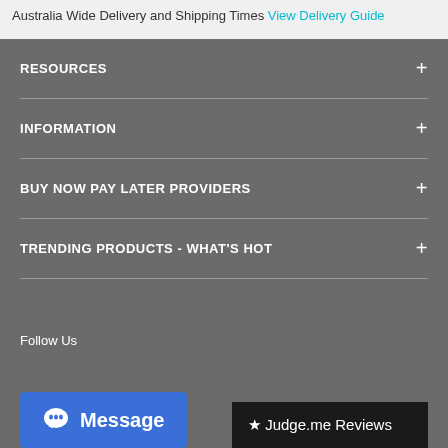Australia Wide Delivery and Shipping Times View Delivery Guide
RESOURCES
INFORMATION
BUY NOW PAY LATER PROVIDERS
TRENDING PRODUCTS - WHAT'S HOT
Follow Us
[Figure (screenshot): Blue Message button with alien/chat icon]
[Figure (screenshot): Judge.me Reviews widget black bar]